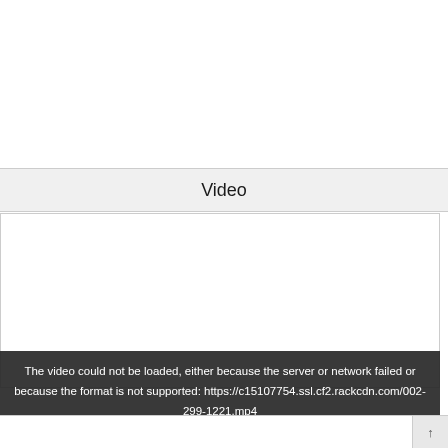Video
[Figure (other): Video player area showing a failed video load state with white background and error message overlay.]
The video could not be loaded, either because the server or network failed or because the format is not supported: https://c15107754.ssl.cf2.rackcdn.com/002-299-1221.mp4